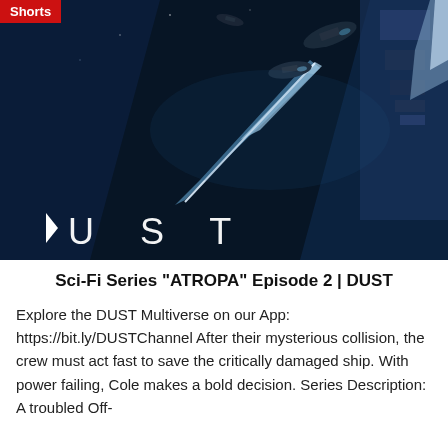[Figure (photo): Dark sci-fi scene showing spacecraft or drones in a dimly lit space corridor with blue-tinted lighting and beam effects. DUST logo visible at bottom left of image.]
Sci-Fi Series “ATROPA” Episode 2 | DUST
Explore the DUST Multiverse on our App: https://bit.ly/DUSTChannel After their mysterious collision, the crew must act fast to save the critically damaged ship. With power failing, Cole makes a bold decision. Series Description: A troubled Off-